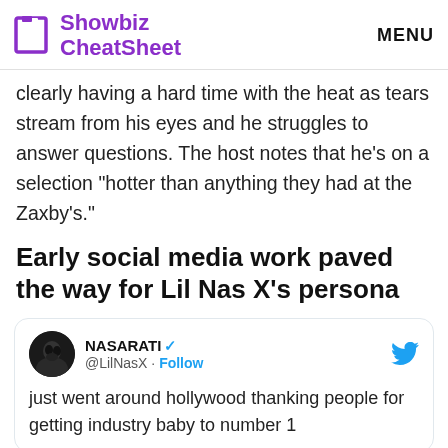Showbiz CheatSheet MENU
clearly having a hard time with the heat as tears stream from his eyes and he struggles to answer questions. The host notes that he's on a selection “hotter than anything they had at the Zaxby’s.”
Early social media work paved the way for Lil Nas X’s persona
[Figure (screenshot): Tweet from NASARATI (@LilNasX) with verified checkmark and Follow button. Tweet text: 'just went around hollywood thanking people for getting industry baby to number 1']